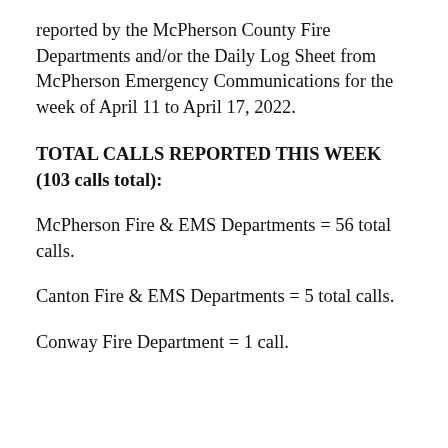reported by the McPherson County Fire Departments and/or the Daily Log Sheet from McPherson Emergency Communications for the week of April 11 to April 17, 2022.
TOTAL CALLS REPORTED THIS WEEK (103 calls total):
McPherson Fire & EMS Departments = 56 total calls.
Canton Fire & EMS Departments = 5 total calls.
Conway Fire Department = 1 call.